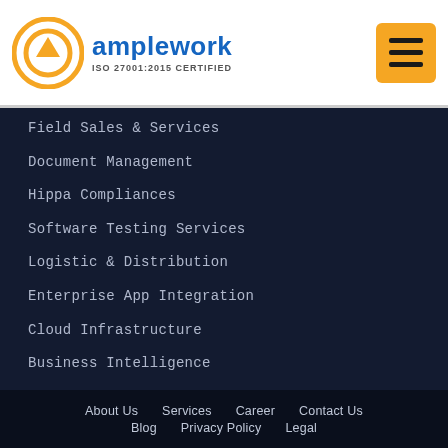amplework ISO 27001:2015 CERTIFIED
Field Sales & Services
Document Management
Hippa Compliances
Software Testing Services
Logistic & Distribution
Enterprise App Integration
Cloud Infrastructure
Business Intelligence
Enterprise Mobility
Staff Augmentation Services
About Us   Services   Career   Contact Us   Blog   Privacy Policy   Legal